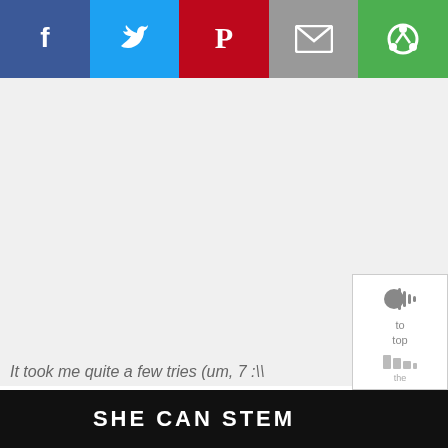[Figure (screenshot): Social sharing bar with Facebook (blue), Twitter (light blue), Pinterest (red), Email (grey), and another share button (green) icons]
[Figure (screenshot): Large white/light grey content area (image placeholder or loaded content area)]
It took me quite a few tries (um, 7 :\
[Figure (screenshot): Side widget panel with share/audio icon, 'to top' label, and bars icon]
SHE CAN STEM